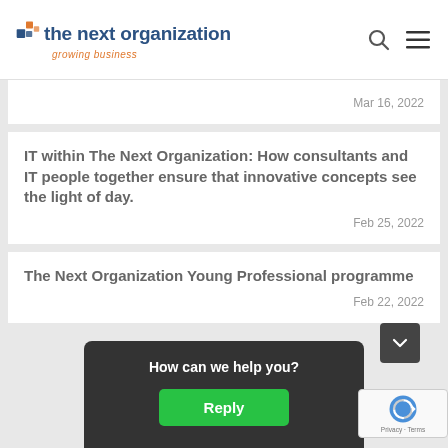the next organization — growing business
Mar 16, 2022
IT within The Next Organization: How consultants and IT people together ensure that innovative concepts see the light of day.
Feb 25, 2022
The Next Organization Young Professional programme
Feb 22, 2022
How can we help you?
Reply